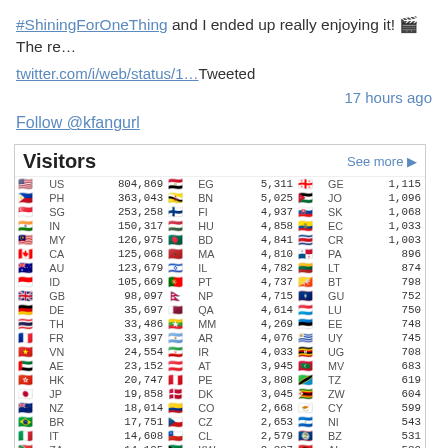#ShiningForOneThing and I ended up really enjoying it! 🎬 The re…
twitter.com/i/web/status/1…Tweeted
17 hours ago
Follow @kfangurl
| flag | CC | count | flag | CC | count | flag | CC | count |
| --- | --- | --- | --- | --- | --- | --- | --- | --- |
| 🇺🇸 | US | 804,869 | 🇪🇬 | EG | 5,311 | 🇬🇪 | GE | 1,115 |
| 🇵🇭 | PH | 363,043 | 🇧🇳 | BN | 5,025 | 🇯🇴 | JO | 1,096 |
| 🇸🇬 | SG | 253,258 | 🇫🇮 | FI | 4,937 | 🇸🇰 | SK | 1,068 |
| 🇮🇳 | IN | 150,317 | 🇭🇺 | HU | 4,858 | 🇪🇨 | EC | 1,033 |
| 🇲🇾 | MY | 126,975 | 🇧🇩 | BD | 4,841 | 🇨🇷 | CR | 1,003 |
| 🇨🇦 | CA | 125,068 | 🇲🇦 | MA | 4,810 | 🇵🇦 | PA | 896 |
| 🇦🇺 | AU | 123,679 | 🇮🇱 | IL | 4,782 | 🇱🇹 | LT | 874 |
| 🇮🇩 | ID | 105,669 | 🇵🇹 | PT | 4,737 | 🇧🇹 | BT | 798 |
| 🇬🇧 | GB | 98,097 | 🇳🇵 | NP | 4,715 | 🇬🇺 | GU | 752 |
| 🇩🇪 | DE | 35,697 | 🇶🇦 | QA | 4,614 | 🇱🇺 | LU | 750 |
| 🇹🇭 | TH | 33,486 | 🇲🇲 | MM | 4,269 | 🇪🇪 | EE | 748 |
| 🇫🇷 | FR | 33,397 | 🇦🇷 | AR | 4,076 | 🇺🇾 | UY | 745 |
| 🇻🇳 | VN | 24,554 | 🇮🇷 | IR | 4,033 | 🇺🇬 | UG | 708 |
| 🇦🇪 | AE | 23,152 | 🇦🇹 | AT | 3,945 | 🇲🇻 | MV | 683 |
| 🇭🇰 | HK | 20,747 | 🇵🇪 | PE | 3,808 | 🇹🇿 | TZ | 619 |
| 🇯🇵 | JP | 19,858 | 🇩🇰 | DK | 3,045 | 🇿🇼 | ZW | 604 |
| 🇳🇿 | NZ | 18,014 | 🇨🇴 | CO | 2,668 | 🇨🇾 | CY | 599 |
| 🇧🇷 | BR | 17,751 | 🇨🇿 | CZ | 2,653 | 🇳🇮 | NI | 543 |
| 🇮🇹 | IT | 14,608 | 🇨🇱 | CL | 2,579 | 🇧🇿 | BZ | 531 |
| 🇿🇦 | ZA | 14,105 | 🇰🇼 | KW | 2,387 | 🇦🇱 | AL | 530 |
| 🇪🇸 | ES | 13,121 | 🇺🇦 | UA | 2,136 | 🇸🇮 | SI | 505 |